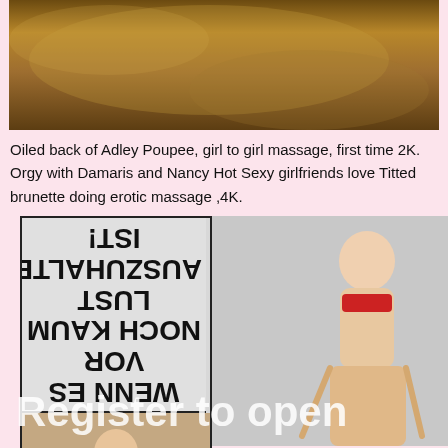[Figure (photo): Oiled back/skin close-up photo, dark warm tones]
Oiled back of Adley Poupee, girl to girl massage, first time 2K. Orgy with Damaris and Nancy Hot Sexy girlfriends love Titted brunette doing erotic massage ,4K.
[Figure (photo): Two-panel image: left panel shows mirrored/upside-down German text 'WENN ES VOR NOCH KAUM LUST AUSZUHALTEN IST!' with a person below; right panel shows a blonde woman in red top bending forward on grey background. White overlay text reads 'Register to open']